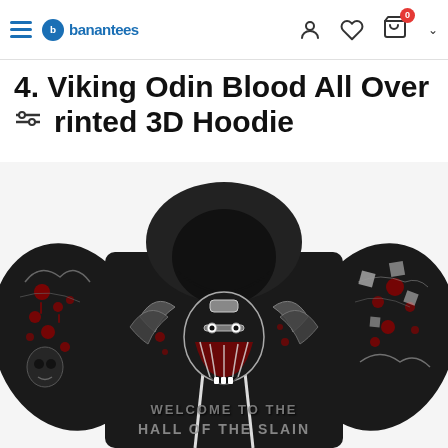banantees — navigation header with hamburger menu, logo, user icon, wishlist icon, cart icon with badge 0, chevron
4. Viking Odin Blood All Over Printed 3D Hoodie
[Figure (photo): Product photo of a black 3D hoodie with Viking Odin design featuring blood splatter graphics, wings, a bearded Odin face, and text 'Welcome to the Hall of the Slain' on the front. The hoodie has detailed red and white graphic prints on the sleeves and body.]